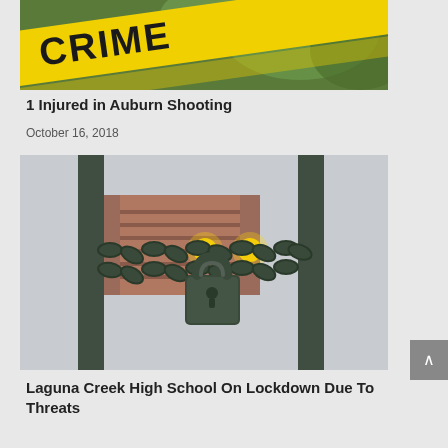[Figure (photo): Yellow crime scene tape with 'CRIME' text visible, green foliage in background]
1 Injured in Auburn Shooting
October 16, 2018
[Figure (photo): Close-up of metal fence poles with heavy chain and padlock, blurred brick building with yellow lights in background]
Laguna Creek High School On Lockdown Due To Threats